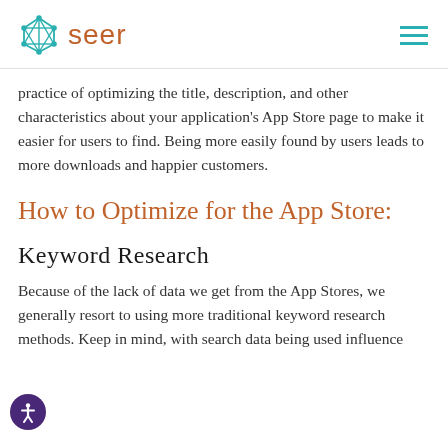seer
practice of optimizing the title, description, and other characteristics about your application's App Store page to make it easier for users to find. Being more easily found by users leads to more downloads and happier customers.
How to Optimize for the App Store:
Keyword Research
Because of the lack of data we get from the App Stores, we generally resort to using more traditional keyword research methods. Keep in mind, with search data being used influence